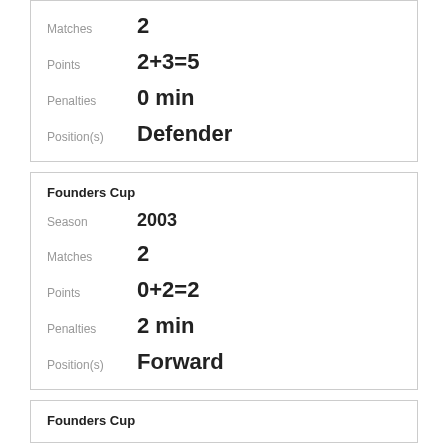Matches  2
Points  2+3=5
Penalties  0 min
Position(s)  Defender
Founders Cup
Season  2003
Matches  2
Points  0+2=2
Penalties  2 min
Position(s)  Forward
Founders Cup